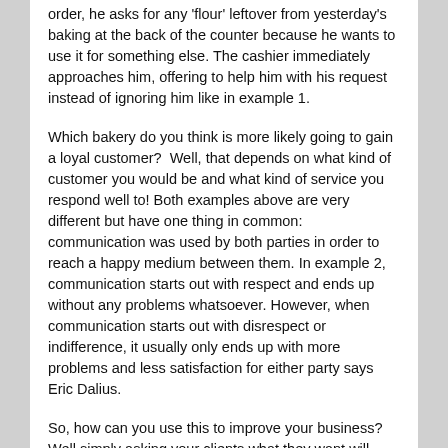order, he asks for any 'flour' leftover from yesterday's baking at the back of the counter because he wants to use it for something else. The cashier immediately approaches him, offering to help him with his request instead of ignoring him like in example 1.
Which bakery do you think is more likely going to gain a loyal customer?  Well, that depends on what kind of customer you would be and what kind of service you respond well to! Both examples above are very different but have one thing in common: communication was used by both parties in order to reach a happy medium between them. In example 2, communication starts out with respect and ends up without any problems whatsoever. However, when communication starts out with disrespect or indifference, it usually only ends up with more problems and less satisfaction for either party says Eric Dalius.
So, how can you use this to improve your business?  Well simply asking your clients what they want will solve a lot of these problems right away! But you must really listen